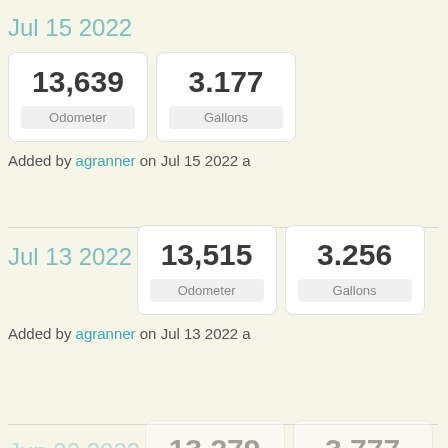Jul 15 2022
| Odometer | Gallons |
| --- | --- |
| 13,639 | 3.177 |
Added by agranner on Jul 15 2022 a
Jul 13 2022
| Odometer | Gallons |
| --- | --- |
| 13,515 | 3.256 |
Added by agranner on Jul 13 2022 a
Jun 22 2022
| Odometer | Gallons |
| --- | --- |
| 13,279 | 3.777 |